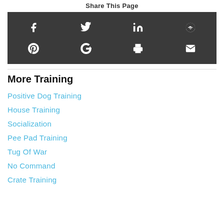Share This Page
[Figure (other): Social share buttons: Facebook, Twitter, LinkedIn, Reddit, Pinterest, Google+, Print, Email on dark background]
More Training
Positive Dog Training
House Training
Socialization
Pee Pad Training
Tug Of War
No Command
Crate Training